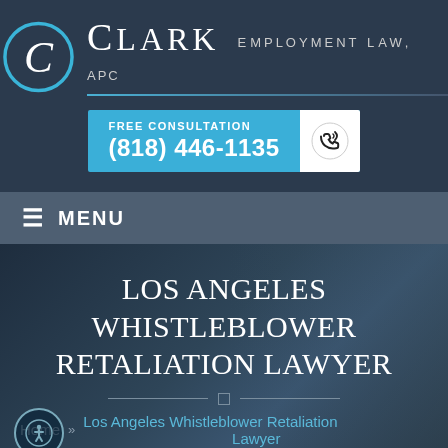[Figure (logo): Clark Employment Law, APC logo with circular C emblem and horizontal accent line]
FREE CONSULTATION
(818) 446-1135
≡ MENU
LOS ANGELES WHISTLEBLOWER RETALIATION LAWYER
Home » Los Angeles Whistleblower Retaliation Lawyer